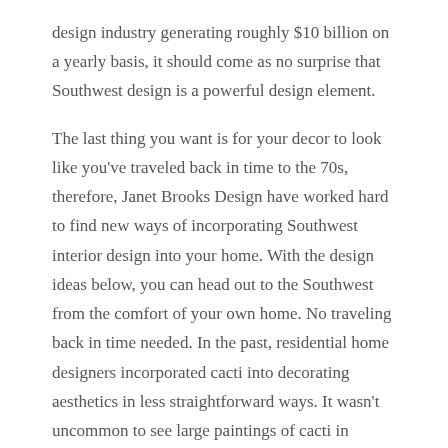design industry generating roughly $10 billion on a yearly basis, it should come as no surprise that Southwest design is a powerful design element.
The last thing you want is for your decor to look like you've traveled back in time to the 70s, therefore, Janet Brooks Design have worked hard to find new ways of incorporating Southwest interior design into your home. With the design ideas below, you can head out to the Southwest from the comfort of your own home. No traveling back in time needed. In the past, residential home designers incorporated cacti into decorating aesthetics in less straightforward ways. It wasn't uncommon to see large paintings of cacti in homes seeking a Southwestern design. But eventually, more artistic portrayals of cacti became associated